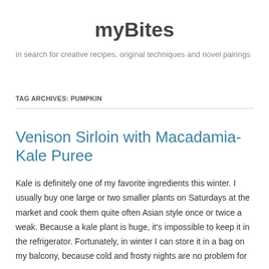myBites
in search for creative recipes, original techniques and novel pairings
TAG ARCHIVES: PUMPKIN
Venison Sirloin with Macadamia-Kale Puree
Kale is definitely one of my favorite ingredients this winter. I usually buy one large or two smaller plants on Saturdays at the market and cook them quite often Asian style once or twice a weak. Because a kale plant is huge, it's impossible to keep it in the refrigerator. Fortunately, in winter I can store it in a bag on my balcony, because cold and frosty nights are no problem for